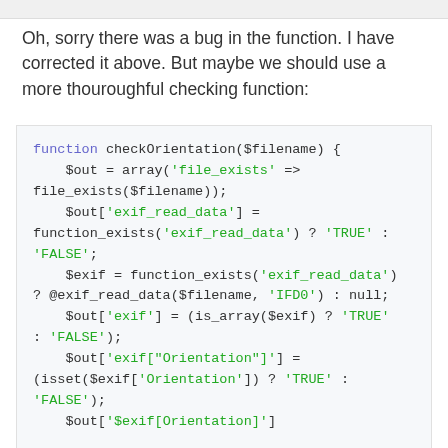Oh, sorry there was a bug in the function. I have corrected it above. But maybe we should use a more thouroughful checking function:
function checkOrientation($filename) {
    $out = array('file_exists' => file_exists($filename));
    $out['exif_read_data'] = function_exists('exif_read_data') ? 'TRUE' : 'FALSE';
    $exif = function_exists('exif_read_data') ? @exif_read_data($filename, 'IFD0') : null;
    $out['exif'] = (is_array($exif) ? 'TRUE' : 'FALSE');
    $out['exif["Orientation"]'] = (isset($exif['Orientation']) ? 'TRUE' : 'FALSE');